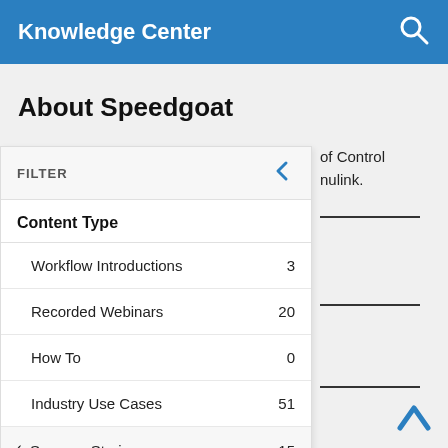Knowledge Center
About Speedgoat
FILTER
Content Type
Workflow Introductions  3
Recorded Webinars  20
How To  0
Industry Use Cases  51
✓ Success Stories  15
Reference Applications  6
✓ Whitepapers  2
of Control
mulink.